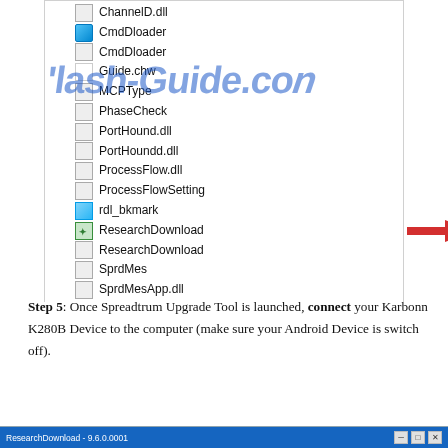[Figure (screenshot): A Windows file explorer listing showing files: ChannelD.dll, CmdDloader (app icon), CmdDloader (generic), Guide.chw, MCPType, PhaseCheck, PortHound.dll, PortHoundd.dll, ProcessFlow.dll, ProcessFlowSetting, rdl_bkmark (image icon), ResearchDownload (exe with green icon, highlighted with red arrow), ResearchDownload (generic), SprdMes, SprdMesApp.dll. A watermark reading 'flash-Guide.com' is overlaid. A red arrow points to the first ResearchDownload entry.]
Step 5: Once Spreadtrum Upgrade Tool is launched, connect your Karbonn K280B Device to the computer (make sure your Android Device is switch off).
[Figure (screenshot): Bottom portion of ResearchDownload application window title bar (blue) with window title 'ResearchDownload - 9.6.0.0001' and minimize/restore/close controls.]